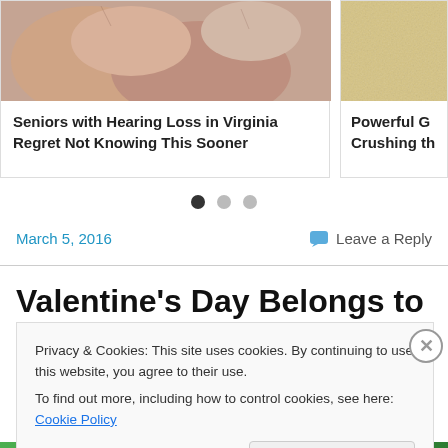[Figure (photo): Card with photo of hands/fingers with hearing aid related image, titled 'Seniors with Hearing Loss in Virginia Regret Not Knowing This Sooner']
Seniors with Hearing Loss in Virginia Regret Not Knowing This Sooner
[Figure (photo): Partial card on right showing grainy/texture image, titled 'Powerful G... Crushing th...']
Powerful G Crushing th
March 5, 2016
Leave a Reply
Valentine's Day Belongs to
Privacy & Cookies: This site uses cookies. By continuing to use this website, you agree to their use.
To find out more, including how to control cookies, see here: Cookie Policy
Close and accept